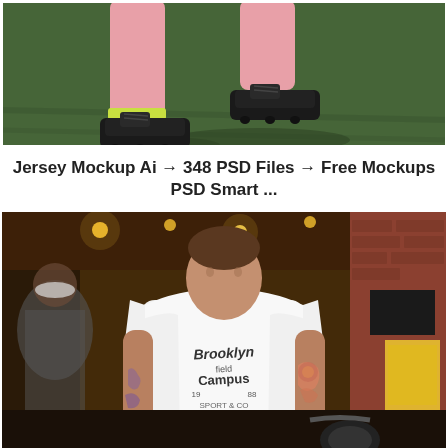[Figure (photo): Close-up of a person's legs wearing pink leggings and black cleats/football boots on a green artificial grass pitch]
Jersey Mockup Ai â†' 348 PSD Files â†' Free Mockups PSD Smart ...
[Figure (photo): Man wearing a white t-shirt with Brooklyn Campus Sport graphic standing on a city street at night with lights and a brick building in background, featuring tattoos on both arms]